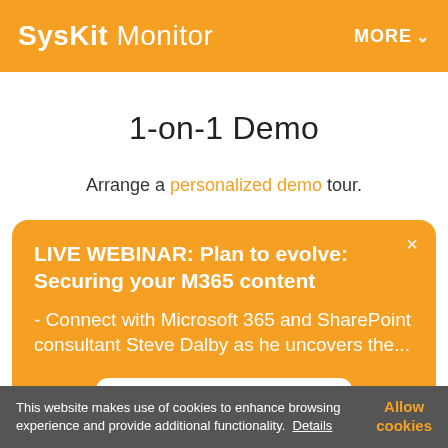SysKit Monitor   MORE
1-on-1 Demo
Arrange a personalized demo tour.
LIVE WEBINAR: Plan to evolve: Securing your M365 content
- Connect with Microsoft 365 and SharePoint consultant Steve Dalby as he uncovers the...
Save your spot
This website makes use of cookies to enhance browsing experience and provide additional functionality.  Details   Allow cookies